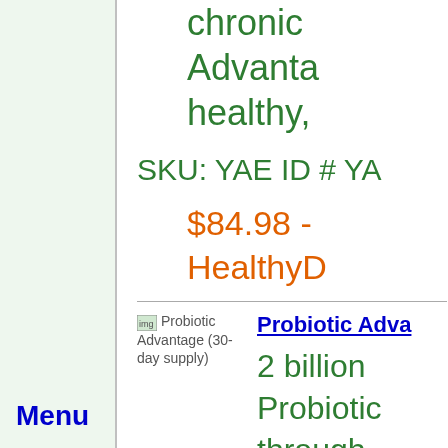chronic Advantage healthy,
SKU: YAE ID # YA
$84.98 - HealthyD
[Figure (other): Probiotic Advantage (30-day supply) product image placeholder]
Probiotic Adva
2 billion Probiotic through patented
Menu